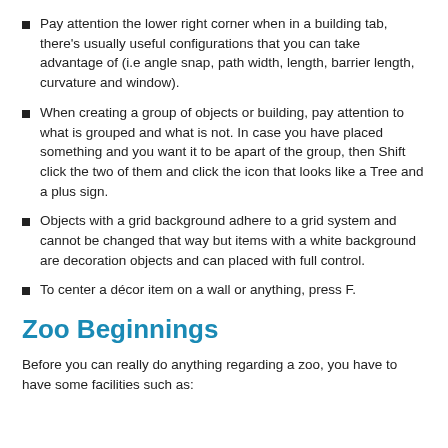Pay attention the lower right corner when in a building tab, there's usually useful configurations that you can take advantage of (i.e angle snap, path width, length, barrier length, curvature and window).
When creating a group of objects or building, pay attention to what is grouped and what is not. In case you have placed something and you want it to be apart of the group, then Shift click the two of them and click the icon that looks like a Tree and a plus sign.
Objects with a grid background adhere to a grid system and cannot be changed that way but items with a white background are decoration objects and can placed with full control.
To center a décor item on a wall or anything, press F.
Zoo Beginnings
Before you can really do anything regarding a zoo, you have to have some facilities such as: